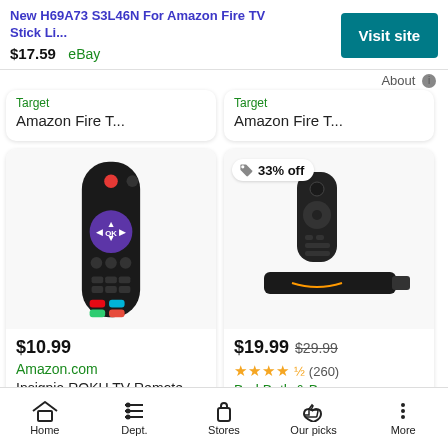New H69A73 S3L46N For Amazon Fire TV Stick Li...
$17.59  eBay
Visit site
About
Target
Amazon Fire T...
Target
Amazon Fire T...
[Figure (photo): Insignia Roku TV remote control with purple directional pad and streaming service buttons]
$10.99
Amazon.com
Insignia ROKU TV Remote W/Volu...
[Figure (photo): Amazon Fire TV Stick with remote control, showing 33% off discount badge]
33% off
$19.99  $29.99
★★★★½ (260)
Bed Bath & Bey...
Amazon Firetv ...
Home   Dept.   Stores   Our picks   More